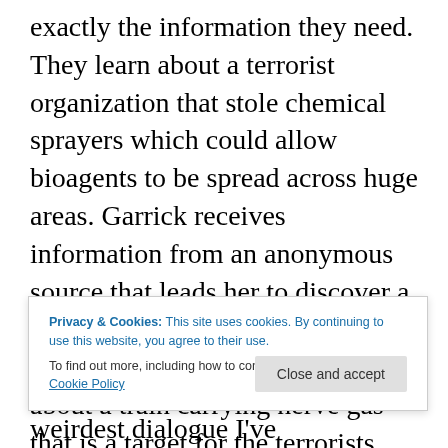exactly the information they need. They learn about a terrorist organization that stole chemical sprayers which could allow bioagents to be spread across huge areas. Garrick receives information from an anonymous source that leads her to discover a senator who is working with the terrorists. She and Wright learn about a train carrying nerve gas that is a target for the terrorists. They organize a team to secure the nerve gas and save thousands from death by bioagents. At this point, what little plot there is completely unravels. The terrorists are all killed off, a whole new subplot is introduced involving textile
Privacy & Cookies: This site uses cookies. By continuing to use this website, you agree to their use.
To find out more, including how to control cookies, see here: Cookie Policy
ray. This book had some of the weirdest dialogue I've